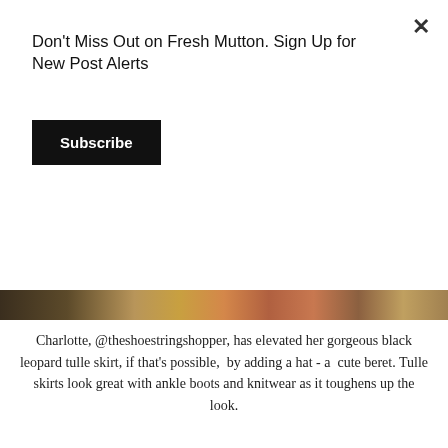Don't Miss Out on Fresh Mutton. Sign Up for New Post Alerts
Subscribe
[Figure (photo): Close-up photo showing a colorful knitted hat with orange, green, red and yellow stripes on a light background]
Charlotte, @theshoestringshopper, has elevated her gorgeous black leopard tulle skirt, if that's possible,  by adding a hat - a  cute beret. Tulle skirts look great with ankle boots and knitwear as it toughens up the look.
[Figure (photo): Woman wearing a pink beret, pink sweater, sunglasses and a dark tulle skirt, standing in front of a wooden fence outdoors]